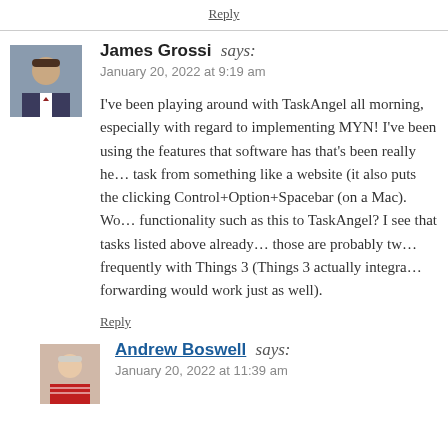Reply
James Grossi says:
January 20, 2022 at 9:19 am
I've been playing around with TaskAngel all morning, especially with regard to implementing MYN! I've been using the features that software has that's been really helpful — task from something like a website (it also puts the clicking Control+Option+Spacebar (on a Mac). Would functionality such as this to TaskAngel? I see that tasks listed above already… those are probably two frequently with Things 3 (Things 3 actually integra forwarding would work just as well).
Reply
Andrew Boswell says:
January 20, 2022 at 11:39 am